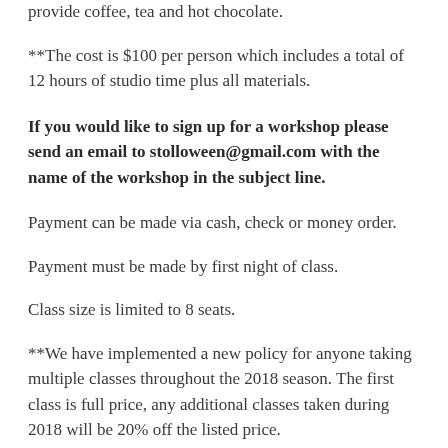provide coffee, tea and hot chocolate.
**The cost is $100 per person which includes a total of 12 hours of studio time plus all materials.
If you would like to sign up for a workshop please send an email to stolloween@gmail.com with the name of the workshop in the subject line.
Payment can be made via cash, check or money order.
Payment must be made by first night of class.
Class size is limited to 8 seats.
**We have implemented a new policy for anyone taking multiple classes throughout the 2018 season. The first class is full price, any additional classes taken during 2018 will be 20% off the listed price.